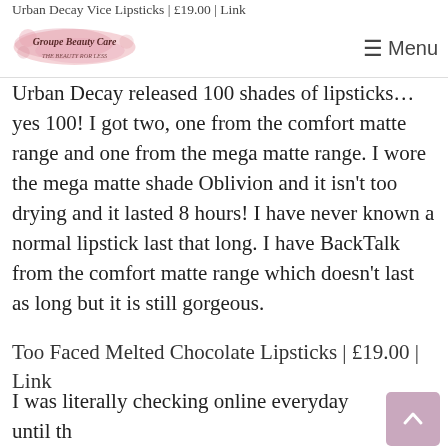Urban Decay Vice Lipsticks | £19.00 | Link
[Figure (logo): Groupe Beauty Cure blog logo with pink watercolour splash background and cursive text]
Urban Decay released 100 shades of lipsticks... yes 100! I got two, one from the comfort matte range and one from the mega matte range. I wore the mega matte shade Oblivion and it isn't too drying and it lasted 8 hours! I have never known a normal lipstick last that long. I have BackTalk from the comfort matte range which doesn't last as long but it is still gorgeous.
Too Faced Melted Chocolate Lipsticks | £19.00 | Link
I was literally checking online everyday until they were released at Debenhams. I have the lightest